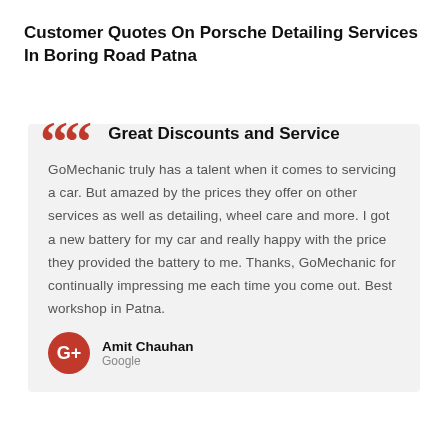Customer Quotes On Porsche Detailing Services In Boring Road Patna
Great Discounts and Service
GoMechanic truly has a talent when it comes to servicing a car. But amazed by the prices they offer on other services as well as detailing, wheel care and more. I got a new battery for my car and really happy with the price they provided the battery to me. Thanks, GoMechanic for continually impressing me each time you come out. Best workshop in Patna.
Amit Chauhan
Google